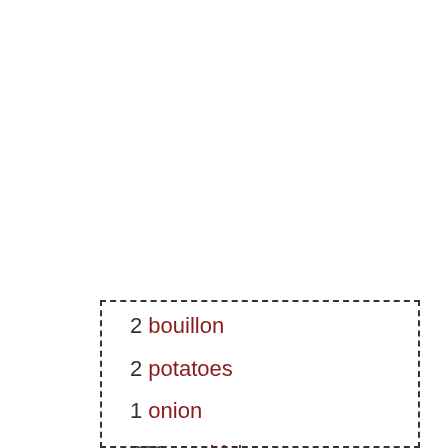2 bouillon
2 potatoes
1 onion
800 gr chicken